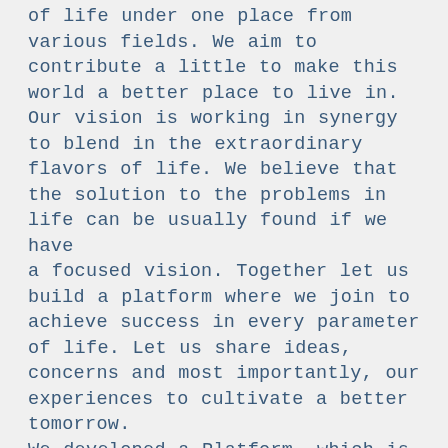of life under one place from various fields. We aim to contribute a little to make this world a better place to live in. Our vision is working in synergy to blend in the extraordinary flavors of life. We believe that the solution to the problems in life can be usually found if we have a focused vision. Together let us build a platform where we join to achieve success in every parameter of life. Let us share ideas, concerns and most importantly, our experiences to cultivate a better tomorrow. We developed a Platform, which is focused on Highlighting Positivity ! Work on the Constructive Aspects which can be Beneficial for Everyone ! Publication House is one such Initiative to Publish the Constructive Aspects, Reprinting of Rare and Useful aspects for Society. To start with; Arabic, English, Hindi, Persian, Sanskrit & Urdu languages are taken into